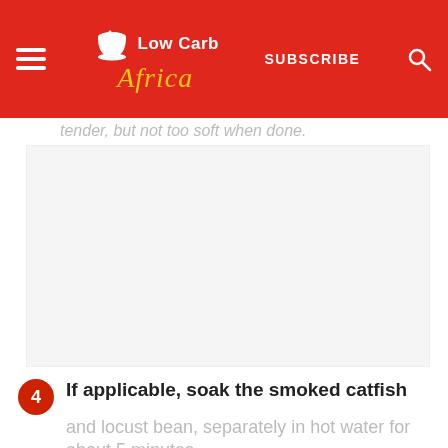Low Carb Africa — SUBSCRIBE
tender, but not too soft when done.
4  If applicable, soak the smoked catfish and locust bean, separately in hot water for about 5 minutes.